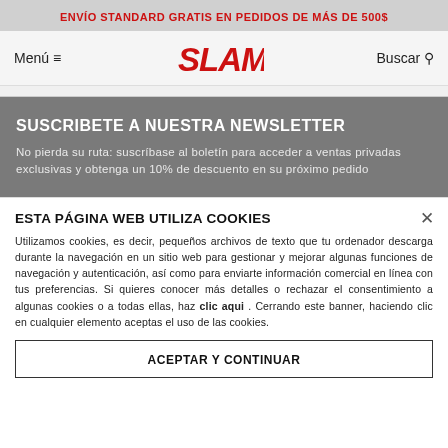ENVÍO STANDARD GRATIS EN PEDIDOS DE MÁS DE 500$
[Figure (logo): SLAM brand logo in red bold italic text]
SUSCRIBETE A NUESTRA NEWSLETTER
No pierda su ruta: suscríbase al boletín para acceder a ventas privadas exclusivas y obtenga un 10% de descuento en su próximo pedido
ESTA PÁGINA WEB UTILIZA COOKIES
Utilizamos cookies, es decir, pequeños archivos de texto que tu ordenador descarga durante la navegación en un sitio web para gestionar y mejorar algunas funciones de navegación y autenticación, así como para enviarte información comercial en línea con tus preferencias. Si quieres conocer más detalles o rechazar el consentimiento a algunas cookies o a todas ellas, haz clic aqui . Cerrando este banner, haciendo clic en cualquier elemento aceptas el uso de las cookies.
ACEPTAR Y CONTINUAR